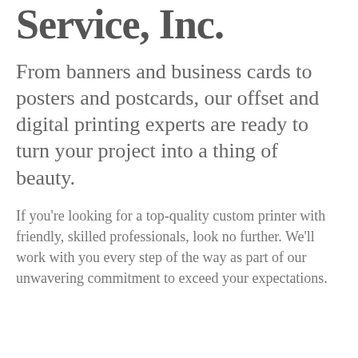Service, Inc.
From banners and business cards to posters and postcards, our offset and digital printing experts are ready to turn your project into a thing of beauty.
If you're looking for a top-quality custom printer with friendly, skilled professionals, look no further. We'll work with you every step of the way as part of our unwavering commitment to exceed your expectations.